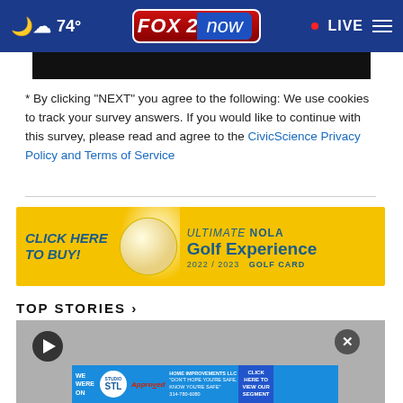74° FOX 2 now · LIVE
[Figure (screenshot): Black video player placeholder bar]
* By clicking "NEXT" you agree to the following: We use cookies to track your survey answers. If you would like to continue with this survey, please read and agree to the CivicScience Privacy Policy and Terms of Service
[Figure (infographic): Yellow advertisement banner: CLICK HERE TO BUY! ULTIMATE NOLA Golf Experience 2022/2023 GOLF CARD]
TOP STORIES ›
[Figure (screenshot): Video thumbnail with play button and close button, with Studio STL Home Improvements LLC advertisement overlay at bottom]